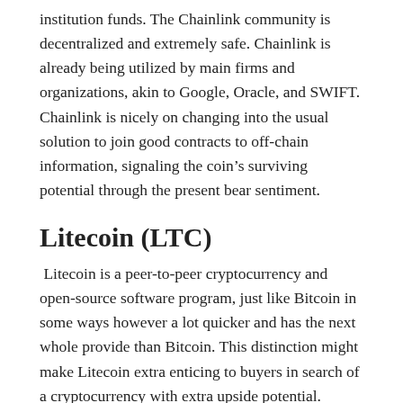institution funds. The Chainlink community is decentralized and extremely safe. Chainlink is already being utilized by main firms and organizations, akin to Google, Oracle, and SWIFT. Chainlink is nicely on changing into the usual solution to join good contracts to off-chain information, signaling the coin's surviving potential through the present bear sentiment.
Litecoin (LTC)
Litecoin is a peer-to-peer cryptocurrency and open-source software program, just like Bitcoin in some ways however a lot quicker and has the next whole provide than Bitcoin. This distinction might make Litecoin extra enticing to buyers in search of a cryptocurrency with extra upside potential.
Thus far, Litecoin has been a profitable cryptocurrency